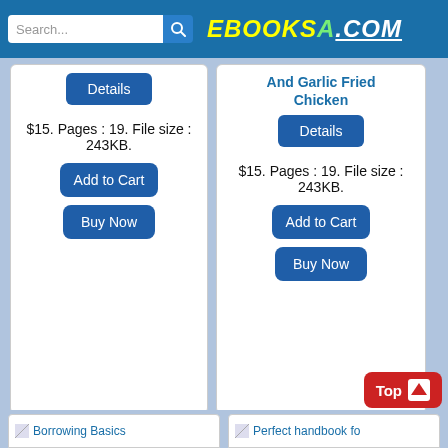EBOOKSA.COM — Search header
And Garlic Fried Chicken
Details
$15. Pages : 19. File size : 243KB.
Add to Cart
Buy Now
Details
$15. Pages : 19. File size : 243KB.
Add to Cart
Buy Now
Top
Borrowing Basics
Perfect handbook fo